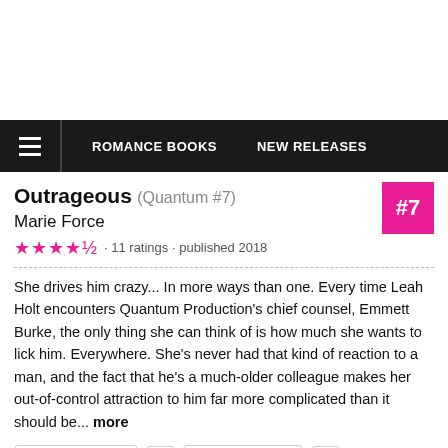ROMANCE BOOKS   NEW RELEASES
Outrageous (Quantum #7) Marie Force · 11 ratings · published 2018 #7
She drives him crazy... In more ways than one. Every time Leah Holt encounters Quantum Production's chief counsel, Emmett Burke, the only thing she can think of is how much she wants to lick him. Everywhere. She's never had that kind of reaction to a man, and the fact that he's a much-older colleague makes her out-of-control attraction to him far more complicated than it should be... more